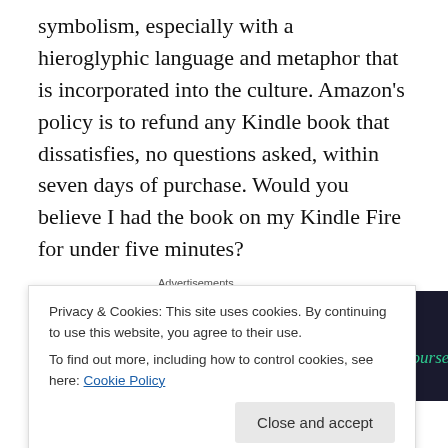symbolism, especially with a hieroglyphic language and metaphor that is incorporated into the culture. Amazon's policy is to refund any Kindle book that dissatisfies, no questions asked, within seven days of purchase. Would you believe I had the book on my Kindle Fire for under five minutes?
[Figure (other): Advertisement banner with dark background showing 'Turn your blog into a money-making online course.' with an arrow icon and circular logo]
Most eBook consumers will just shrug and settle. My
Privacy & Cookies: This site uses cookies. By continuing to use this website, you agree to their use.
To find out more, including how to control cookies, see here: Cookie Policy
proposition, such as formatting his current manuscript for